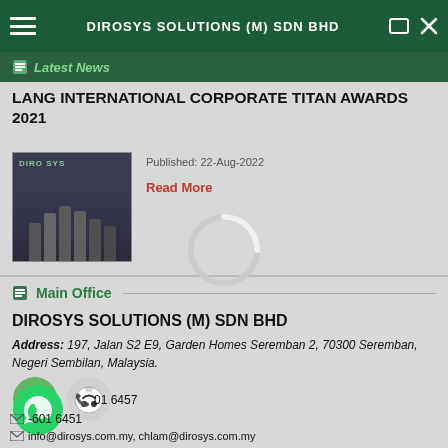DIROSYS SOLUTIONS (M) SDN BHD
Latest News
LANG INTERNATIONAL CORPORATE TITAN AWARDS 2021
[Figure (photo): Group photo in front of DIROSYS building]
Published: 22-Aug-2022
Read More
Main Office
DIROSYS SOLUTIONS (M) SDN BHD
Address: 197, Jalan S2 E9, Garden Homes Seremban 2, 70300 Seremban, Negeri Sembilan, Malaysia.
[Figure (infographic): Map icon, Waze icon, and WhatsApp icon for navigation and contact]
01 6457
601 6451
info@dirosys.com.my, chlam@dirosys.com.my